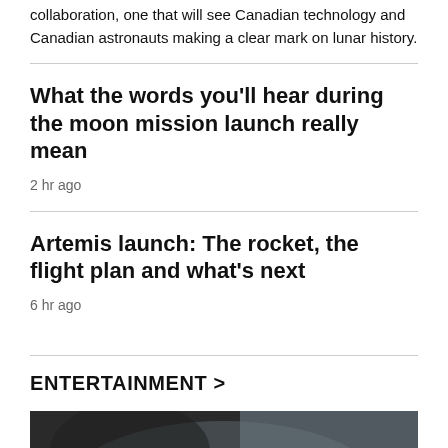collaboration, one that will see Canadian technology and Canadian astronauts making a clear mark on lunar history.
What the words you'll hear during the moon mission launch really mean
2 hr ago
Artemis launch: The rocket, the flight plan and what's next
6 hr ago
ENTERTAINMENT >
[Figure (photo): Dark atmospheric image, partially visible at bottom of page]